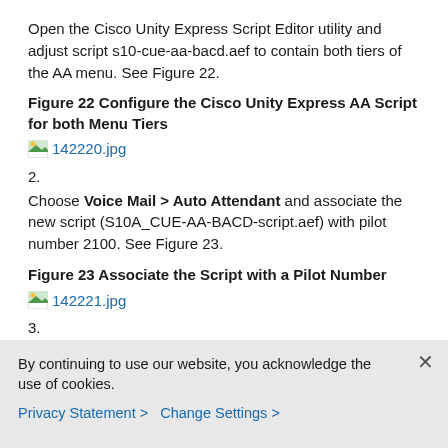Open the Cisco Unity Express Script Editor utility and adjust script s10-cue-aa-bacd.aef to contain both tiers of the AA menu. See Figure 22.
Figure 22 Configure the Cisco Unity Express AA Script for both Menu Tiers
[Figure (other): Placeholder image link: 142220.jpg]
2.
Choose Voice Mail > Auto Attendant and associate the new script (S10A_CUE-AA-BACD-script.aef) with pilot number 2100. See Figure 23.
Figure 23 Associate the Script with a Pilot Number
[Figure (other): Placeholder image link: 142221.jpg]
3.
Record all the prompts required for the AA script. You can either record these offline and upload the .wav files to Cisco Unity Express with the correct file names, or you
By continuing to use our website, you acknowledge the use of cookies.
Privacy Statement >   Change Settings >